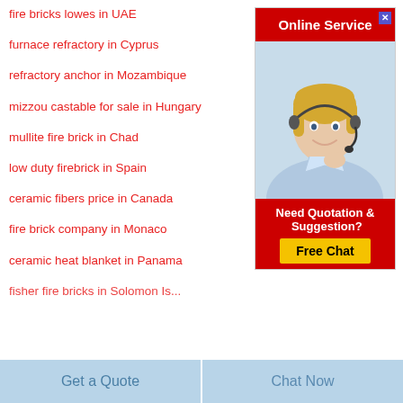fire bricks lowes in UAE
furnace refractory in Cyprus
refractory anchor in Mozambique
mizzou castable for sale in Hungary
mullite fire brick in Chad
low duty firebrick in Spain
ceramic fibers price in Canada
fire brick company in Monaco
ceramic heat blanket in Panama
fisher fire bricks in Solomon Is...
[Figure (illustration): Online Service ad widget with woman wearing headset, red header saying 'Online Service', and red footer with 'Need Quotation & Suggestion? Free Chat' button]
Get a Quote
Chat Now